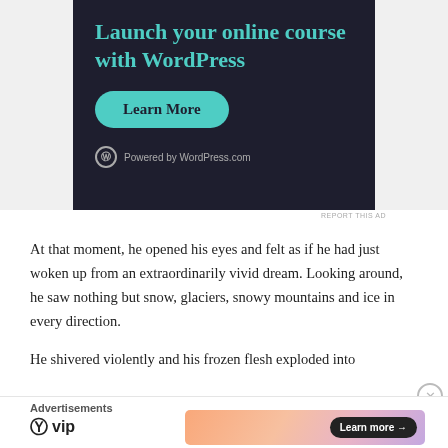[Figure (illustration): WordPress.com advertisement banner with dark background. Title: 'Launch your online course with WordPress'. Green 'Learn More' button. 'Powered by WordPress.com' logo at bottom.]
REPORT THIS AD
At that moment, he opened his eyes and felt as if he had just woken up from an extraordinarily vivid dream. Looking around, he saw nothing but snow, glaciers, snowy mountains and ice in every direction.
He shivered violently and his frozen flesh exploded into
Advertisements
[Figure (logo): WordPress VIP logo on left side]
[Figure (illustration): Gradient banner ad (peach to lavender) with 'Learn more →' button on right]